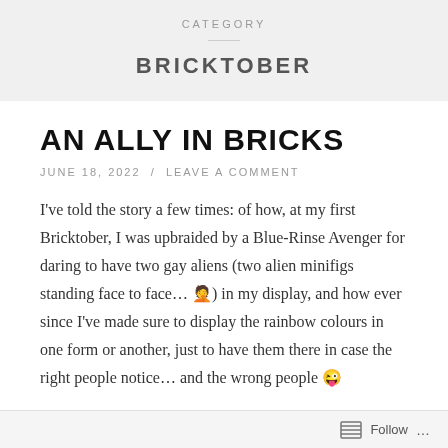CATEGORY
BRICKTOBER
AN ALLY IN BRICKS
JUNE 18, 2022 / LEAVE A COMMENT
I've told the story a few times: of how, at my first Bricktober, I was upbraided by a Blue-Rinse Avenger for daring to have two gay aliens (two alien minifigs standing face to face… 🤦) in my display, and how ever since I've made sure to display the rainbow colours in one form or another, just to have them there in case the right people notice… and the wrong people 😜
Follow ...